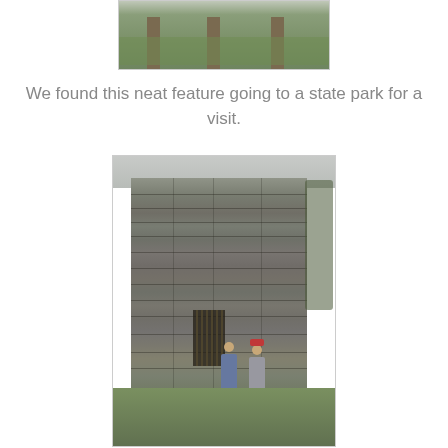[Figure (photo): Partial photo of wooden posts in a grassy area with fallen leaves, cropped at the top of the page]
We found this neat feature going to a state park for a visit.
[Figure (photo): Large stone furnace or kiln structure made of stacked stone blocks, with a metal gate/grate visible at the base. Two people stand in front for scale. Trees visible in background. Green grass in foreground.]